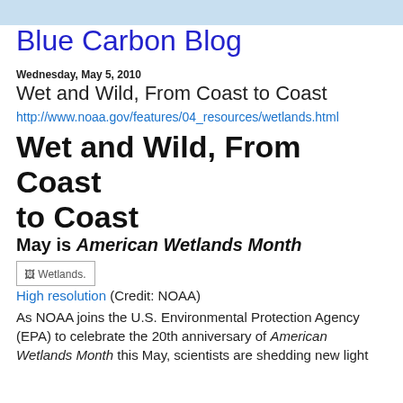Blue Carbon Blog
Wednesday, May 5, 2010
Wet and Wild, From Coast to Coast
http://www.noaa.gov/features/04_resources/wetlands.html
Wet and Wild, From Coast to Coast
May is American Wetlands Month
[Figure (photo): Wetlands image placeholder with broken image icon labeled 'Wetlands.']
High resolution (Credit: NOAA)
As NOAA joins the U.S. Environmental Protection Agency (EPA) to celebrate the 20th anniversary of American Wetlands Month this May, scientists are shedding new light